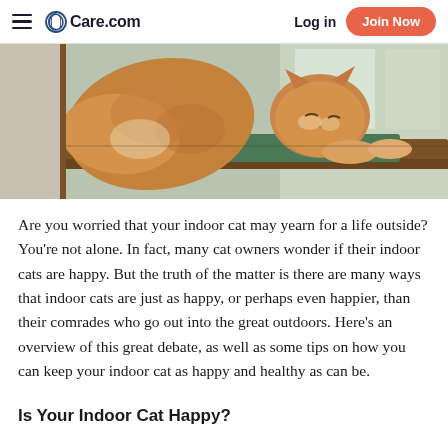Care.com — Log in | Join Now
[Figure (photo): Two orange tabby cats lying on a green cushion on a wooden window sill, viewed from inside the room.]
Are you worried that your indoor cat may yearn for a life outside? You're not alone. In fact, many cat owners wonder if their indoor cats are happy. But the truth of the matter is there are many ways that indoor cats are just as happy, or perhaps even happier, than their comrades who go out into the great outdoors. Here's an overview of this great debate, as well as some tips on how you can keep your indoor cat as happy and healthy as can be.
Is Your Indoor Cat Happy?